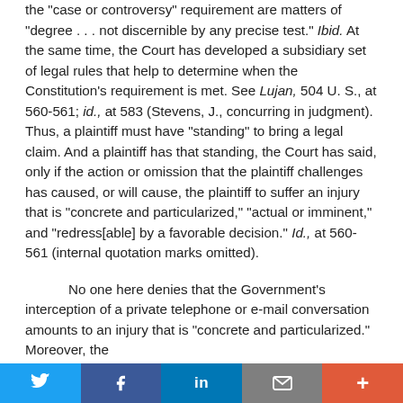the "case or controversy" requirement are matters of "degree . . . not discernible by any precise test." Ibid. At the same time, the Court has developed a subsidiary set of legal rules that help to determine when the Constitution's requirement is met. See Lujan, 504 U. S., at 560-561; id., at 583 (Stevens, J., concurring in judgment). Thus, a plaintiff must have "standing" to bring a legal claim. And a plaintiff has that standing, the Court has said, only if the action or omission that the plaintiff challenges has caused, or will cause, the plaintiff to suffer an injury that is "concrete and particularized," "actual or imminent," and "redress[able] by a favorable decision." Id., at 560-561 (internal quotation marks omitted).
No one here denies that the Government's interception of a private telephone or e-mail conversation amounts to an injury that is "concrete and particularized." Moreover, the
Twitter | Facebook | LinkedIn | Email | +